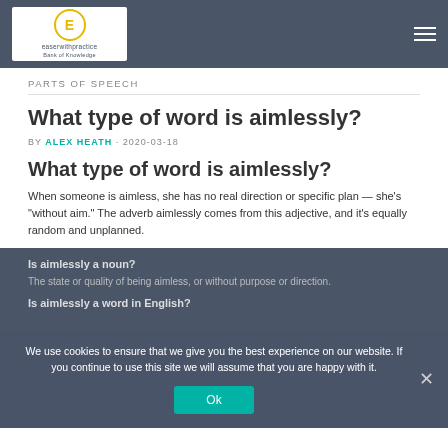easerwithpractice Bank of Knowledge
PARTS OF SPEECH
What type of word is aimlessly?
BY ALEX HEATH · 2020-03-18
What type of word is aimlessly?
When someone is aimless, she has no real direction or specific plan — she’s “without aim.” The adverb aimlessly comes from this adjective, and it’s equally random and unplanned.
Is aimlessly a noun?
The state or quality of being aimless, or without purpose or direction.
Is aimlessly a word in English?
We use cookies to ensure that we give you the best experience on our website. If you continue to use this site we will assume that you are happy with it.